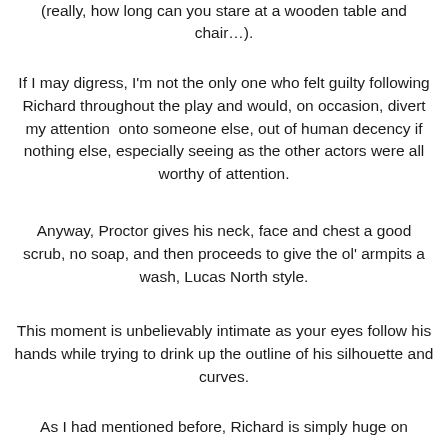(really, how long can you stare at a wooden table and chair…).
If I may digress, I'm not the only one who felt guilty following Richard throughout the play and would, on occasion, divert my attention  onto someone else, out of human decency if nothing else, especially seeing as the other actors were all worthy of attention.
Anyway, Proctor gives his neck, face and chest a good scrub, no soap, and then proceeds to give the ol' armpits a wash, Lucas North style.
This moment is unbelievably intimate as your eyes follow his hands while trying to drink up the outline of his silhouette and curves.
As I had mentioned before, Richard is simply huge on stage, and this is exemplified by the fact that he is barely...